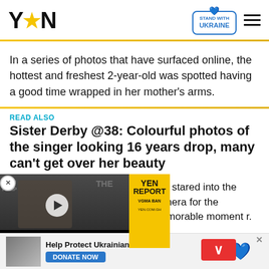YEN ★ N | STAND WITH UKRAINE
In a series of photos that have surfaced online, the hottest and freshest 2-year-old was spotted having a good time wrapped in her mother's arms.
READ ALSO
Sister Derby @38: Colourful photos of the singer looking 16 years drop, many can't get over her beauty
[Figure (screenshot): Video player overlay showing a news segment. Left: dark background with a person, play button, text overlay reading 'STONEBWOY BREAKS SILENCE ON VGMA BAN: VGMA BAN IS A GOOD THING'. Center: YEN REPORT yellow badge with VGMA BAN text and YEN.COM.GH URL. Right: partial article text. Red dismiss chevron button at bottom right.]
hey stared into the camera for the memorable moment r.
[Figure (infographic): Bottom advertisement bar: thumbnail of Ukrainian families, text 'Help Protect Ukrainian Families', blue DONATE NOW button, Ukraine heart logo, close X button.]